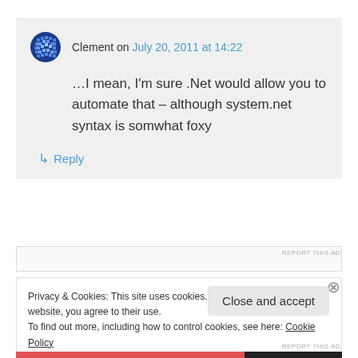Clement on July 20, 2011 at 14:22
…I mean, I'm sure .Net would allow you to automate that – although system.net syntax is somwhat foxy
↳ Reply
REPORT THIS AD
Privacy & Cookies: This site uses cookies. By continuing to use this website, you agree to their use.
To find out more, including how to control cookies, see here: Cookie Policy
Close and accept
REPORT THIS AD